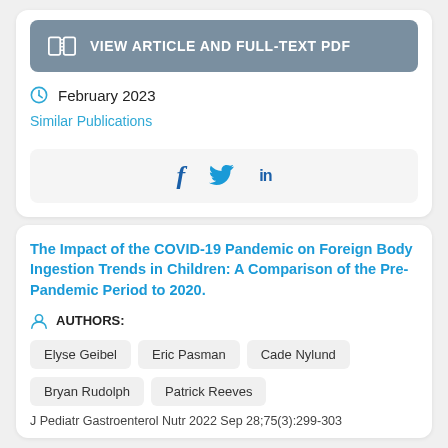[Figure (other): Button labeled VIEW ARTICLE AND FULL-TEXT PDF with a book/open-pages icon on a grey-blue background]
February 2023
Similar Publications
[Figure (other): Social sharing bar with Facebook, Twitter, and LinkedIn icons]
The Impact of the COVID-19 Pandemic on Foreign Body Ingestion Trends in Children: A Comparison of the Pre-Pandemic Period to 2020.
AUTHORS:
Elyse Geibel
Eric Pasman
Cade Nylund
Bryan Rudolph
Patrick Reeves
J Pediatr Gastroenterol Nutr 2022 Sep 28;75(3):299-303